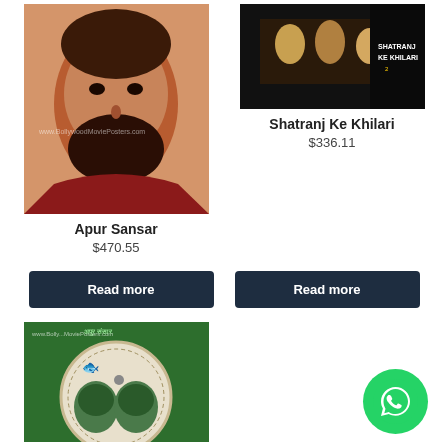[Figure (photo): Movie poster for Apur Sansar showing a bearded man, with watermark www.BollywoodMoviePosters.com]
Apur Sansar
$470.55
[Figure (photo): Movie poster for Shatranj Ke Khilari showing group scene with Shatranj Ke Khilari text]
Shatranj Ke Khilari
$336.11
Read more
Read more
[Figure (photo): Bollywood movie poster (partial) with green background, circular design, fish and face illustrations, watermark www.BollywoodMoviePosters.com]
[Figure (logo): WhatsApp icon - green circle with white phone/chat logo]